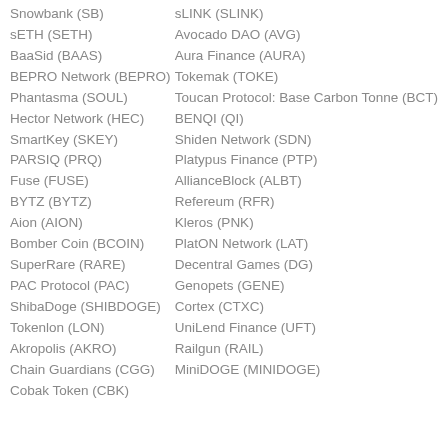Snowbank (SB)
sLINK (SLINK)
sETH (SETH)
Avocado DAO (AVG)
BaaSid (BAAS)
Aura Finance (AURA)
BEPRO Network (BEPRO)
Tokemak (TOKE)
Phantasma (SOUL)
Toucan Protocol: Base Carbon Tonne (BCT)
Hector Network (HEC)
BENQI (QI)
SmartKey (SKEY)
Shiden Network (SDN)
PARSIQ (PRQ)
Platypus Finance (PTP)
Fuse (FUSE)
AllianceBlock (ALBT)
BYTZ (BYTZ)
Refereum (RFR)
Aion (AION)
Kleros (PNK)
Bomber Coin (BCOIN)
PlatON Network (LAT)
SuperRare (RARE)
Decentral Games (DG)
PAC Protocol (PAC)
Genopets (GENE)
ShibaDoge (SHIBDOGE)
Cortex (CTXC)
Tokenlon (LON)
UniLend Finance (UFT)
Akropolis (AKRO)
Railgun (RAIL)
Chain Guardians (CGG)
MiniDOGE (MINIDOGE)
Cobak Token (CBK)